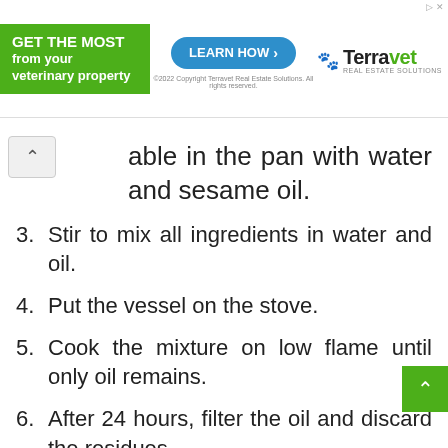[Figure (screenshot): Terravet Real Estate Solutions advertisement banner with green GET THE MOST box, LEARN HOW button, and Terravet logo]
able in the pan with water and sesame oil.
3. Stir to mix all ingredients in water and oil.
4. Put the vessel on the stove.
5. Cook the mixture on low flame until only oil remains.
6. After 24 hours, filter the oil and discard the residues.
7. You have made Jatyadi Tail. Preserve in food grade glass or plastic airtight